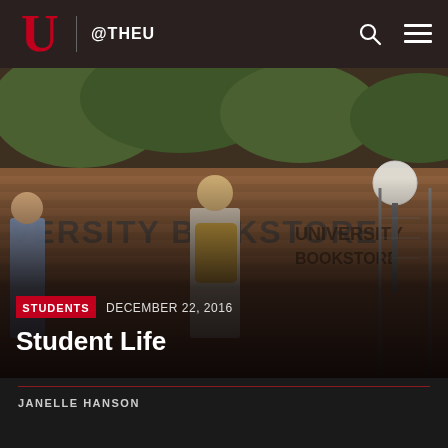@THEU
[Figure (photo): Students with backpacks walking outside the University Bookstore, a brick building with signage reading 'UNIVERSITY BOOKSTORE'. A student in a red cap and light blue shirt faces the camera; others walk away.]
STUDENTS   DECEMBER 22, 2016
Student Life
JANELLE HANSON